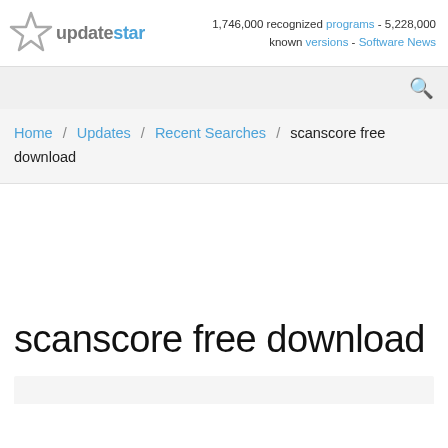updatestar logo | 1,746,000 recognized programs - 5,228,000 known versions - Software News
[Figure (logo): UpdateStar logo: grey star icon with 'update' in grey and 'star' in blue text]
1,746,000 recognized programs - 5,228,000 known versions - Software News
Home / Updates / Recent Searches / scanscore free download
scanscore free download